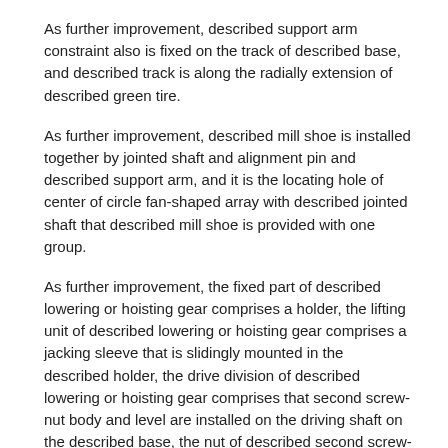As further improvement, described support arm constraint also is fixed on the track of described base, and described track is along the radially extension of described green tire.
As further improvement, described mill shoe is installed together by jointed shaft and alignment pin and described support arm, and it is the locating hole of center of circle fan-shaped array with described jointed shaft that described mill shoe is provided with one group.
As further improvement, the fixed part of described lowering or hoisting gear comprises a holder, the lifting unit of described lowering or hoisting gear comprises a jacking sleeve that is slidingly mounted in the described holder, the drive division of described lowering or hoisting gear comprises that second screw-nut body and level are installed on the driving shaft on the described base, the nut of described second screw-nut body is arranged on the described jacking sleeve, the screw rod of described second screw-nut body rotates and is installed on the described holder, and described driving shaft is connected with the lead screw transmission of described second screw-nut body by bevel gear sett is secondary.